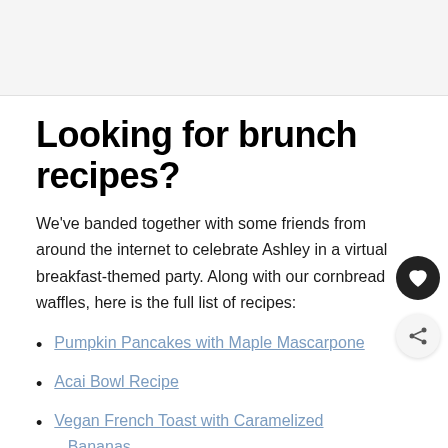[Figure (photo): Gray placeholder image area at top of page]
Looking for brunch recipes?
We've banded together with some friends from around the internet to celebrate Ashley in a virtual breakfast-themed party. Along with our cornbread waffles, here is the full list of recipes:
Pumpkin Pancakes with Maple Mascarpone
Acai Bowl Recipe
Vegan French Toast with Caramelized Bananas